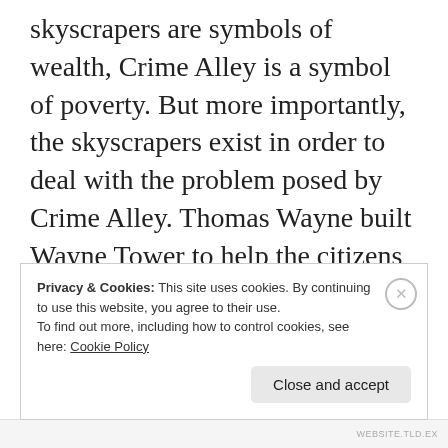skyscrapers are symbols of wealth, Crime Alley is a symbol of poverty. But more importantly, the skyscrapers exist in order to deal with the problem posed by Crime Alley. Thomas Wayne built Wayne Tower to help the citizens of Gotham, and Bruce Wayne uses Wayne Enterprises to provide him with his gadgets to fight crime. But the poor, the out-of-work and the criminal element of Gotham is located predominantly in Crime Alley. Further, the denizens of this alley are a threat to those
Privacy & Cookies: This site uses cookies. By continuing to use this website, you agree to their use.
To find out more, including how to control cookies, see here: Cookie Policy
Close and accept
WEBSITE.TLD.EX